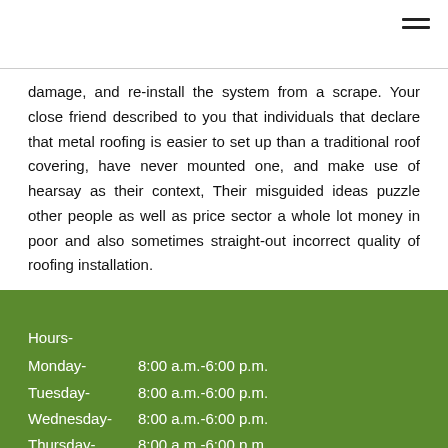damage, and re-install the system from a scrape. Your close friend described to you that individuals that declare that metal roofing is easier to set up than a traditional roof covering, have never mounted one, and make use of hearsay as their context, Their misguided ideas puzzle other people as well as price sector a whole lot money in poor and also sometimes straight-out incorrect quality of roofing installation.
Hours-
Monday- 8:00 a.m.-6:00 p.m.
Tuesday- 8:00 a.m.-6:00 p.m.
Wednesday- 8:00 a.m.-6:00 p.m.
Thursday- 8:00 a.m.-6:00 p.m.